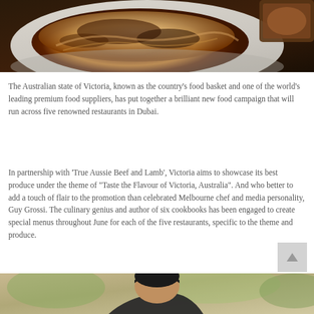[Figure (photo): A plate of lasagne or similar baked pasta dish with rich browned top, on a light grey plate, on a dark surface. Partial view of another dish in top right corner.]
The Australian state of Victoria, known as the country’s food basket and one of the world’s leading premium food suppliers, has put together a brilliant new food campaign that will run across five renowned restaurants in Dubai.
In partnership with ‘True Aussie Beef and Lamb’, Victoria aims to showcase its best produce under the theme of “Taste the Flavour of Victoria, Australia”. And who better to add a touch of flair to the promotion than celebrated Melbourne chef and media personality, Guy Grossi. The culinary genius and author of six cookbooks has been engaged to create special menus throughout June for each of the five restaurants, specific to the theme and produce.
[Figure (photo): Partial view of a person (Guy Grossi) from the shoulders up, beginning to appear at the bottom of the page.]